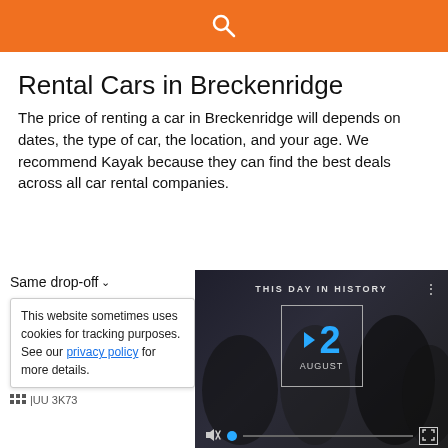[Figure (screenshot): Orange search bar with white magnifying glass icon]
Rental Cars in Breckenridge
The price of renting a car in Breckenridge will depends on dates, the type of car, the location, and your age. We recommend Kayak because they can find the best deals across all car rental companies.
Same drop-off
This website sometimes uses cookies for tracking purposes. See our privacy policy for more details.
[Figure (screenshot): Video thumbnail showing 'This Day in History' with date 12 August and video controls]